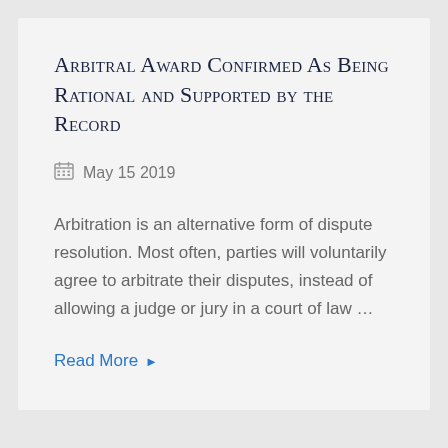Arbitral Award Confirmed As Being Rational and Supported by the Record
May 15 2019
Arbitration is an alternative form of dispute resolution. Most often, parties will voluntarily agree to arbitrate their disputes, instead of allowing a judge or jury in a court of law …
Read More ▶